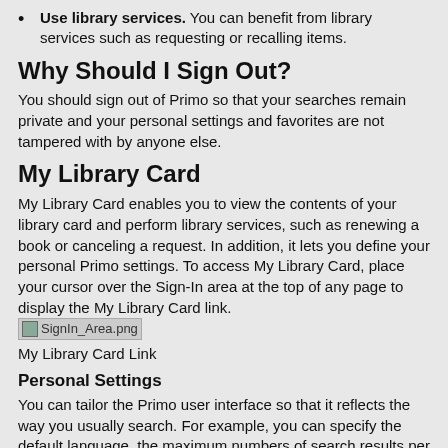Use library services. You can benefit from library services such as requesting or recalling items.
Why Should I Sign Out?
You should sign out of Primo so that your searches remain private and your personal settings and favorites are not tampered with by anyone else.
My Library Card
My Library Card enables you to view the contents of your library card and perform library services, such as renewing a book or canceling a request. In addition, it lets you define your personal Primo settings. To access My Library Card, place your cursor over the Sign-In area at the top of any page to display the My Library Card link.
[Figure (screenshot): SignIn_Area.png image placeholder]
My Library Card Link
Personal Settings
You can tailor the Primo user interface so that it reflects the way you usually search. For example, you can specify the default language, the maximum numbers of search results per page, your default e-mail address, and your cell phone number. To set your preferences, click the Personal Details tab on the My Library Card page.
Personal Details Tab
To keep your settings for future sessions, you must sign in and save your preferences.
Using My Favorites